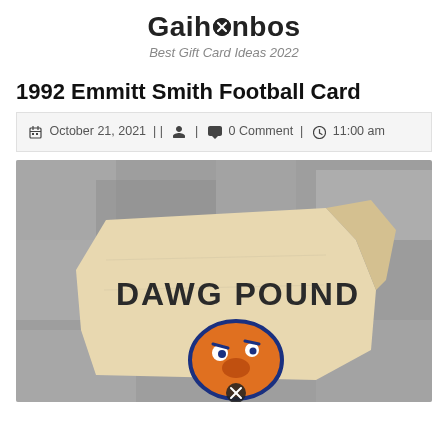Gaihonbos
Best Gift Card Ideas 2022
1992 Emmitt Smith Football Card
October 21, 2021 || 🔒 | 💬 0 Comment | 🕐 11:00 am
[Figure (photo): A torn football card or paper item on a grey surface, showing 'DAWG POUND' text and a Cleveland Browns Dawg mascot graphic in orange and blue.]